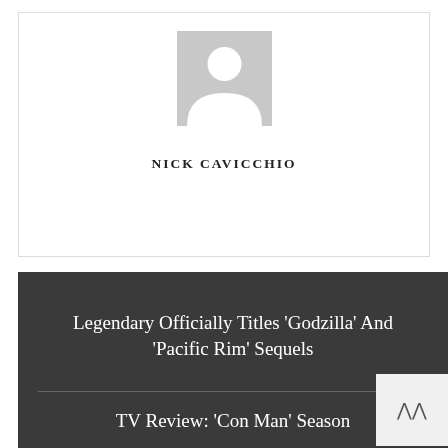[Figure (photo): Default avatar placeholder image — grey square with white silhouette of a person (head and shoulders)]
NICK CAVICCHIO
Legendary Officially Titles 'Godzilla' And 'Pacific Rim' Sequels
TV Review: 'Con Man' Season